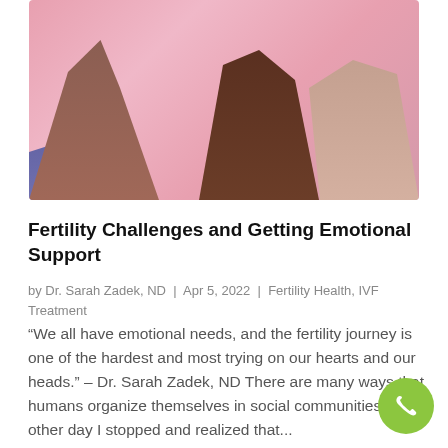[Figure (photo): Three pairs of hands touching fingertips together against a pink background, representing unity and support.]
Fertility Challenges and Getting Emotional Support
by Dr. Sarah Zadek, ND | Apr 5, 2022 | Fertility Health, IVF Treatment
“We all have emotional needs, and the fertility journey is one of the hardest and most trying on our hearts and our heads.” – Dr. Sarah Zadek, ND There are many ways that humans organize themselves in social communities. The other day I stopped and realized that...